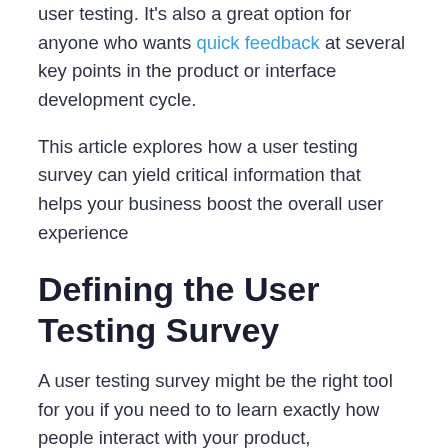user testing. It's also a great option for anyone who wants quick feedback at several key points in the product or interface development cycle.
This article explores how a user testing survey can yield critical information that helps your business boost the overall user experience
Defining the User Testing Survey
A user testing survey might be the right tool for you if you need to to learn exactly how people interact with your product,